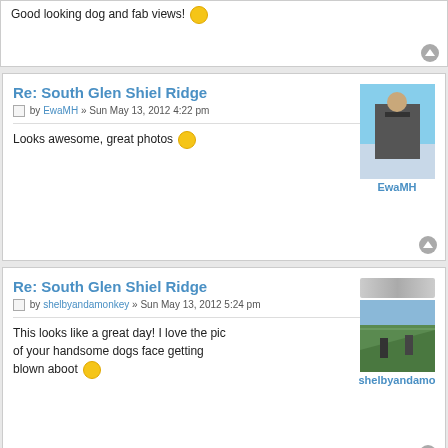Good looking dog and fab views! 🙂
Re: South Glen Shiel Ridge
by EwaMH » Sun May 13, 2012 4:22 pm
Looks awesome, great photos 😀
[Figure (photo): Avatar photo of EwaMH showing a person on a snowy mountain summit]
EwaMH
Re: South Glen Shiel Ridge
by shelbyandamonkey » Sun May 13, 2012 5:24 pm
This looks like a great day! I love the pic of your handsome dogs face getting blown aboot 😄
[Figure (photo): Avatar photo of shelbyandamonkey showing hikers on a green mountain ridge]
shelbyandamo
Re: South Glen Shiel Ridge